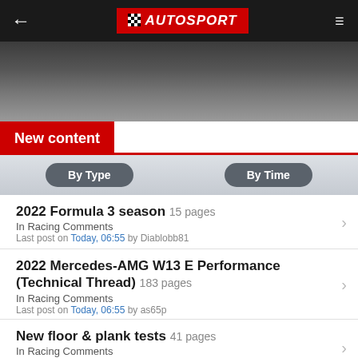AUTOSPORT
[Figure (screenshot): Hero banner image area with dark gray gradient background]
New content
By Type | By Time
2022 Formula 3 season  15 pages
In Racing Comments
Last post on Today, 06:55 by Diablobb81
2022 Mercedes-AMG W13 E Performance (Technical Thread)  183 pages
In Racing Comments
Last post on Today, 06:55 by as65p
New floor & plank tests  41 pages
In Racing Comments
Last post on Today, 06:54 by Wuzak
Another Wet Weekend! SPA  17 pages
In Racing Comments
Last post on Today, 06:47 by Clatter